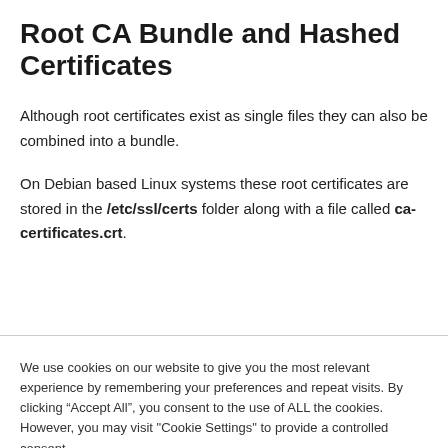Root CA Bundle and Hashed Certificates
Although root certificates exist as single files they can also be combined into a bundle.
On Debian based Linux systems these root certificates are stored in the /etc/ssl/certs folder along with a file called ca-certificates.crt.
We use cookies on our website to give you the most relevant experience by remembering your preferences and repeat visits. By clicking “Accept All”, you consent to the use of ALL the cookies. However, you may visit "Cookie Settings" to provide a controlled consent.